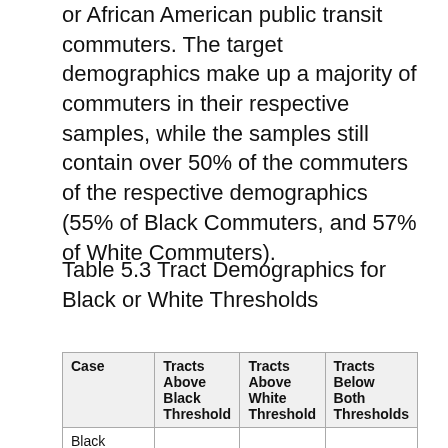or African American public transit commuters. The target demographics make up a majority of commuters in their respective samples, while the samples still contain over 50% of the commuters of the respective demographics (55% of Black Commuters, and 57% of White Commuters).
Table 5.3 Tract Demographics for Black or White Thresholds
| Case | Tracts Above Black Threshold | Tracts Above White Threshold | Tracts Below Both Thresholds |
| --- | --- | --- | --- |
| Black |  |  |  |